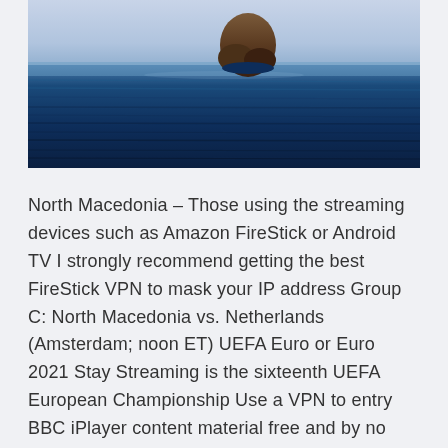[Figure (photo): A large rock formation or small island emerging from a calm, deep blue sea under a light sky. Long-exposure style photography with smooth water surface showing horizontal striations of dark blue.]
North Macedonia – Those using the streaming devices such as Amazon FireStick or Android TV I strongly recommend getting the best FireStick VPN to mask your IP address Group C: North Macedonia vs. Netherlands (Amsterdam; noon ET) UEFA Euro or Euro 2021 Stay Streaming is the sixteenth UEFA European Championship Use a VPN to entry BBC iPlayer content material free and by no means miss a single sport Netherlands vs. North Macedonia vs.